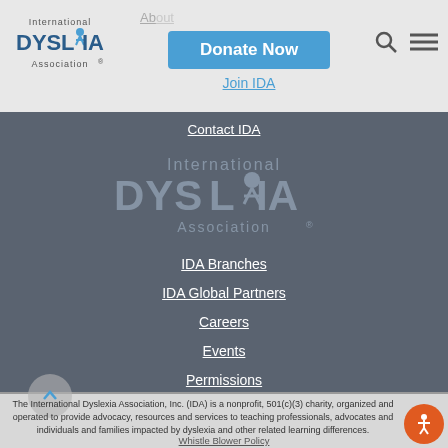[Figure (logo): International Dyslexia Association logo in top left nav bar]
Donate Now | Join IDA
Contact IDA
[Figure (logo): International Dyslexia Association large watermark logo in dark background]
IDA Branches
IDA Global Partners
Careers
Events
Permissions
Advertising
The International Dyslexia Association, Inc. (IDA) is a nonprofit, 501(c)(3) charity, organized and operated to provide advocacy, resources and services to teaching professionals, advocates and individuals and families impacted by dyslexia and other related learning differences.
Whistle Blower Policy